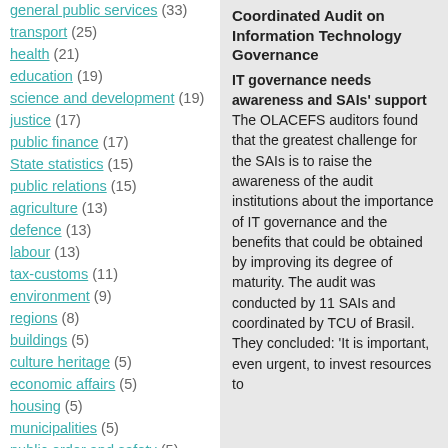transport (25)
health (21)
education (19)
science and development (19)
justice (17)
public finance (17)
State statistics (15)
public relations (15)
agriculture (13)
defence (13)
labour (13)
tax-customs (11)
environment (9)
regions (8)
buildings (5)
culture heritage (5)
economic affairs (5)
housing (5)
municipalities (5)
public order and safety (5)
social protection (5)
communication (4)
internal affairs (4)
Coordinated Audit on Information Technology Governance
IT governance needs awareness and SAIs' support The OLACEFS auditors found that the greatest challenge for the SAIs is to raise the awareness of the audit institutions about the importance of IT governance and the benefits that could be obtained by improving its degree of maturity. The audit was conducted by 11 SAIs and coordinated by TCU of Brasil. They concluded: 'It is important, even urgent, to invest resources to implement...